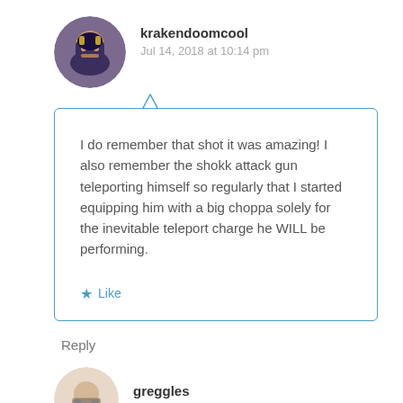krakendoomcool
Jul 14, 2018 at 10:14 pm
I do remember that shot it was amazing! I also remember the shokk attack gun teleporting himself so regularly that I started equipping him with a big choppa solely for the inevitable teleport charge he WILL be performing.
Like
Reply
greggles